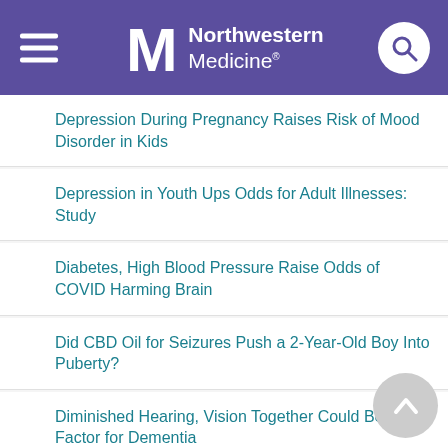Northwestern Medicine
Depression During Pregnancy Raises Risk of Mood Disorder in Kids
Depression in Youth Ups Odds for Adult Illnesses: Study
Diabetes, High Blood Pressure Raise Odds of COVID Harming Brain
Did CBD Oil for Seizures Push a 2-Year-Old Boy Into Puberty?
Diminished Hearing, Vision Together Could Be Risk Factor for Dementia
Disparities in Stroke Care Put Rural Americans at Risk: Study
'Disrupted' Sleep Could Be Seriously Affecting Your Health